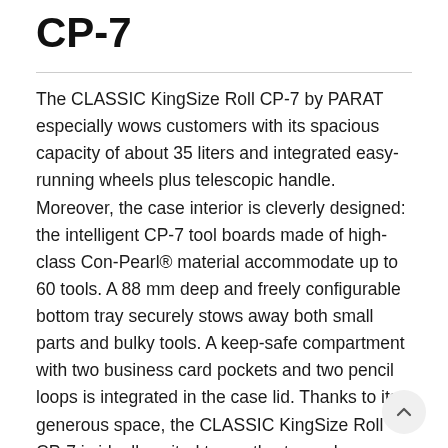CP-7
The CLASSIC KingSize Roll CP-7 by PARAT especially wows customers with its spacious capacity of about 35 liters and integrated easy-running wheels plus telescopic handle. Moreover, the case interior is cleverly designed: the intelligent CP-7 tool boards made of high-class ConPearl® material accommodate up to 60 tools. A 88 mm deep and freely configurable bottom tray securely stows away both small parts and bulky tools. A keep-safe compartment with two business card pockets and two pencil loops is integrated in the case lid. Thanks to its generous space, the CLASSIC KingSize Roll CP-7 is ideally suited to neatly store a huge number of tools and ensures comfortable transport from A to B. For easier transport, the tool case comes with smooth-running, rubberized and ball-bearing castors and a telescopic handle system. The case can be securely locked with